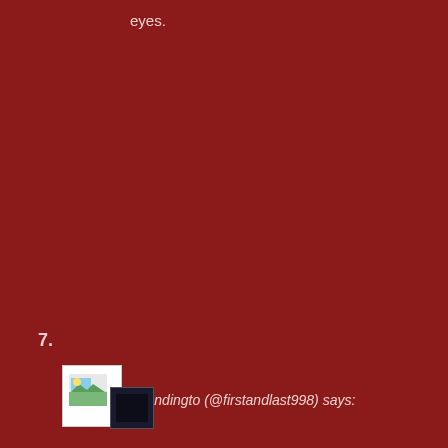eyes.
7.
[Figure (screenshot): Two overlapping thumbnail icons: one white document/image icon and one dark image icon]
trendingto (@firstandlast998) says: